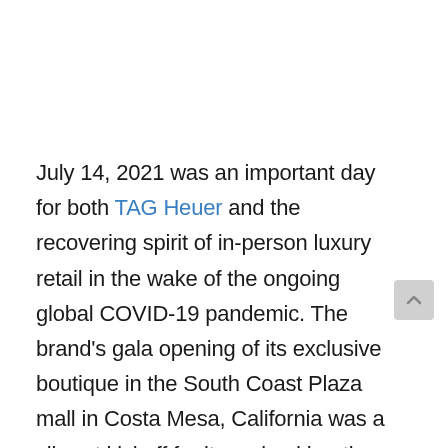July 14, 2021 was an important day for both TAG Heuer and the recovering spirit of in-person luxury retail in the wake of the ongoing global COVID-19 pandemic. The brand's gala opening of its exclusive boutique in the South Coast Plaza mall in Costa Mesa, California was a vibrant kickoff for its revised boutique concept, as well as the only current dedicated TAG Heuer boutique on the West Coast. The new space draws liberally from its Southern California surroundings, with a strong emphasis on the recently refreshed Aquaracer line, surfing images on the walls, and a new hand-painted